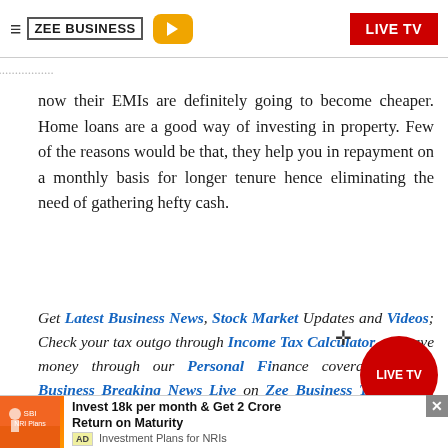ZEE BUSINESS | LIVE TV
now their EMIs are definitely going to become cheaper. Home loans are a good way of investing in property. Few of the reasons would be that, they help you in repayment on a monthly basis for longer tenure hence eliminating the need of gathering hefty cash.
Get Latest Business News, Stock Market Updates and Videos; Check your tax outgo through Income Tax Calculator and save money through our Personal Finance coverage. Check Business Breaking News Live on Zee Business Twitter and Facebook, Su...